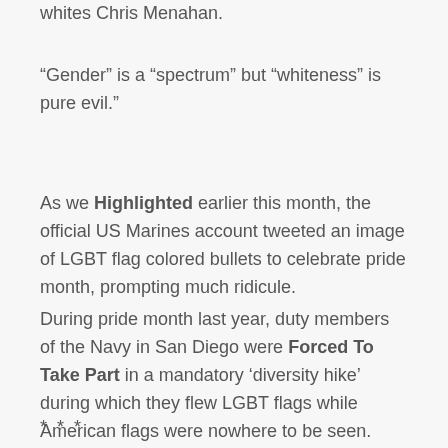whites Chris Menahan.
“Gender” is a “spectrum” but “whiteness” is pure evil.”
As we Highlighted earlier this month, the official US Marines account tweeted an image of LGBT flag colored bullets to celebrate pride month, prompting much ridicule.
During pride month last year, duty members of the Navy in San Diego were Forced To Take Part in a mandatory ‘diversity hike’ during which they flew LGBT flags while American flags were nowhere to be seen.
* * *